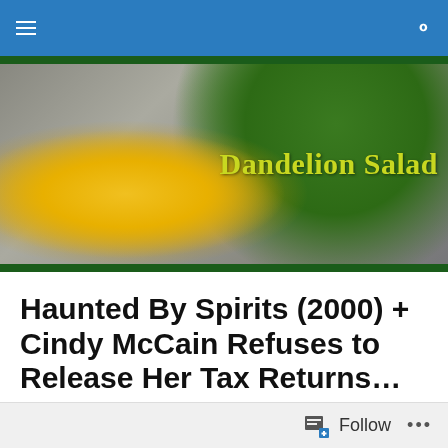≡  🔍
[Figure (photo): Header banner photo of a yellow dandelion flower among gray rocks and green leaves, with the blog title 'Dandelion Salad' overlaid in yellow-green text]
Haunted By Spirits (2000) + Cindy McCain Refuses to Release Her Tax Returns… Ever
Posted by dandelionsalad
Follow  •••